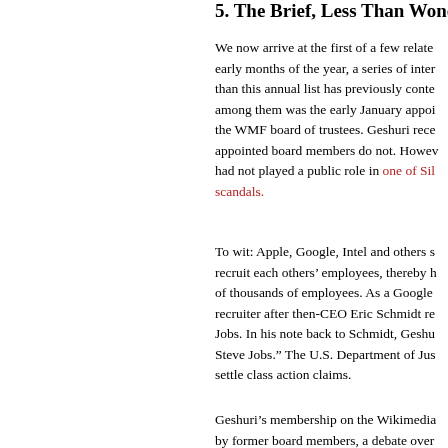5. The Brief, Less Than Wondrous Boa
We now arrive at the first of a few relate early months of the year, a series of inter than this annual list has previously conte among them was the early January appoi the WMF board of trustees. Geshuri rece appointed board members do not. Howev had not played a public role in one of Sil scandals.
To wit: Apple, Google, Intel and others s recruit each others' employees, thereby h of thousands of employees. As a Google recruiter after then-CEO Eric Schmidt re Jobs. In his note back to Schmidt, Geshu Steve Jobs." The U.S. Department of Jus settle class action claims.
Geshuri’s membership on the Wikimedia by former board members, a debate over confidence petition signed by more than